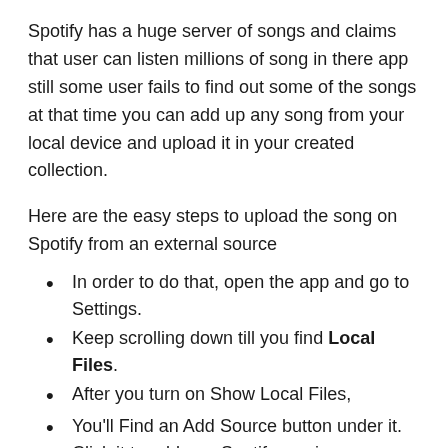Spotify has a huge server of songs and claims that user can listen millions of song in there app still some user fails to find out some of the songs at that time you can add up any song from your local device and upload it in your created collection.
Here are the easy steps to upload the song on Spotify from an external source
In order to do that, open the app and go to Settings.
Keep scrolling down till you find Local Files.
After you turn on Show Local Files,
You'll Find an Add Source button under it. Click it to add non-Spotify music.
5. Change Spotify Username